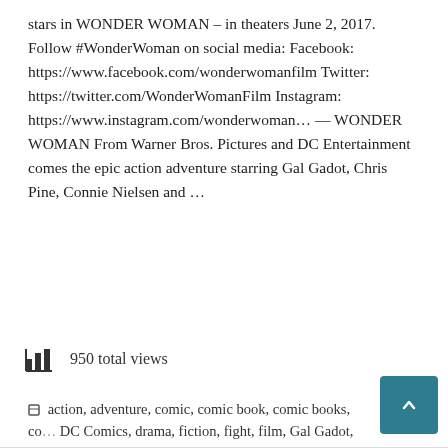stars in WONDER WOMAN – in theaters June 2, 2017. Follow #WonderWoman on social media: Facebook: https://www.facebook.com/wonderwomanfilm Twitter: https://twitter.com/WonderWomanFilm Instagram: https://www.instagram.com/wonderwoman… — WONDER WOMAN From Warner Bros. Pictures and DC Entertainment comes the epic action adventure starring Gal Gadot, Chris Pine, Connie Nielsen and …
Continue reading
950 total views
action, adventure, comic, comic book, comic books, co… DC Comics, drama, fiction, fight, film, Gal Gadot, live, mo… video, wonder woman